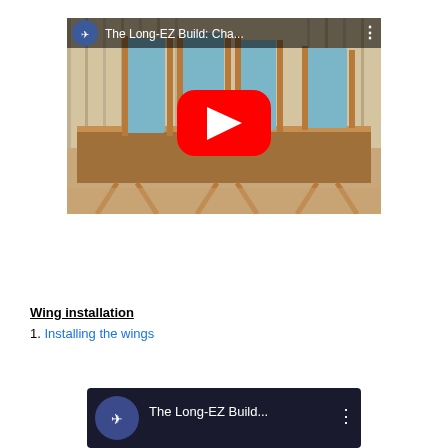[Figure (screenshot): YouTube video thumbnail showing 'The Long-EZ Build: Cha...' with a play button overlay. The video shows blue foam wing panels on wooden sawhorses in a workshop.]
Wing installation
1. Installing the wings
[Figure (screenshot): Partial YouTube video thumbnail showing 'The Long-EZ Build...' with a blue/purple channel icon and three-dot menu icon.]